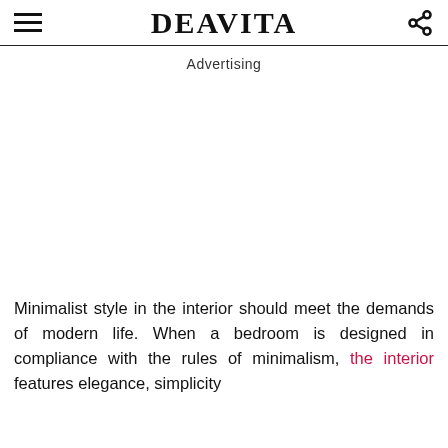DEAVITA
Advertising
Minimalist style in the interior should meet the demands of modern life. When a bedroom is designed in compliance with the rules of minimalism, the interior features elegance, simplicity